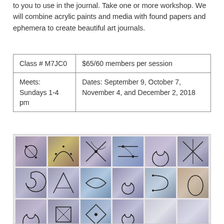to you to use in the journal. Take one or more workshop. We will combine acrylic paints and media with found papers and ephemera to create beautiful art journals.
| Class # M7JC0 | $65/60 members per session |
| Meets: Sundays 1-4 pm | Dates: September 9, October 7, November 4, and December 2, 2018 |
[Figure (photo): Grid of art journal pages showing various abstract designs with spirals, geometric lines, and mixed media artwork in muted purples, blues, and earth tones.]